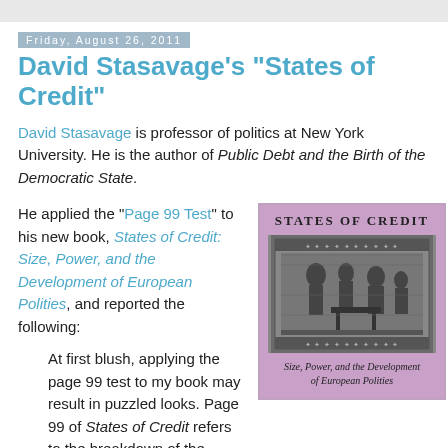Friday, August 26, 2011
David Stasavage's "States of Credit"
David Stasavage is professor of politics at New York University. He is the author of Public Debt and the Birth of the Democratic State.
He applied the “Page 99 Test” to his new book, States of Credit: Size, Power, and the Development of European Polities, and reported the following:
At first blush, applying the page 99 test to my book may result in puzzled looks. Page 99 of States of Credit refers to the breakdown of the
[Figure (photo): Book cover of 'States of Credit: Size, Power, and the Development of European Polities' with a purple/mauve background, ornate black woodcut-style illustration, and title text.]